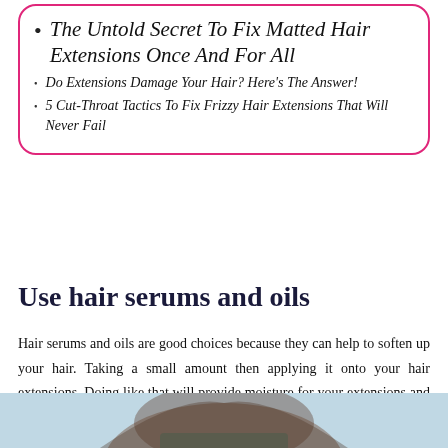The Untold Secret To Fix Matted Hair Extensions Once And For All
Do Extensions Damage Your Hair? Here's The Answer!
5 Cut-Throat Tactics To Fix Frizzy Hair Extensions That Will Never Fail
Use hair serums and oils
Hair serums and oils are good choices because they can help to soften up your hair. Taking a small amount then applying it onto your hair extensions. Doing like that will provide moisture for your extensions and give hair back its shine.
[Figure (photo): Photo of a woman with hair extensions, partial view showing top of head and hair]